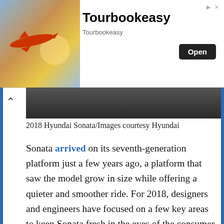[Figure (other): Advertisement banner for Tourbookeasy with airplane image, title 'Tourbookeasy', subtitle 'Tourbookeasy', and an 'Open' button]
[Figure (photo): Dark/blurred image bar with a caret/chevron up arrow on the left, partially obscured photo]
2018 Hyundai Sonata/Images courtesy Hyundai
Sonata arrived on its seventh-generation platform just a few years ago, a platform that saw the model grow in size while offering a quieter and smoother ride. For 2018, designers and engineers have focused on a few key areas to keep Sonata fresh in the eyes of the consumer while also staying competitive in the segment. The new Sonata gets new front and rear styling while also seeing upgrades to suspension, transmission, steering, interior components, technology, and safety.